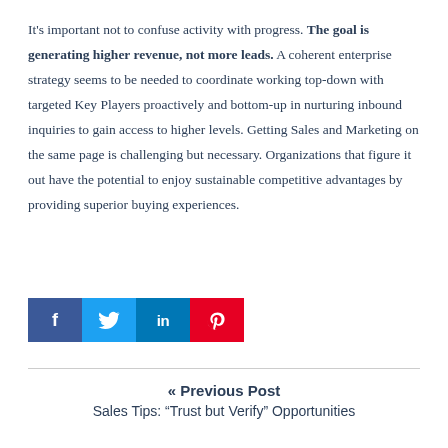It's important not to confuse activity with progress. The goal is generating higher revenue, not more leads. A coherent enterprise strategy seems to be needed to coordinate working top-down with targeted Key Players proactively and bottom-up in nurturing inbound inquiries to gain access to higher levels. Getting Sales and Marketing on the same page is challenging but necessary. Organizations that figure it out have the potential to enjoy sustainable competitive advantages by providing superior buying experiences.
[Figure (other): Social share buttons: Facebook (blue), Twitter (light blue), LinkedIn (blue), Pinterest (red)]
« Previous Post
Sales Tips: “Trust but Verify” Opportunities